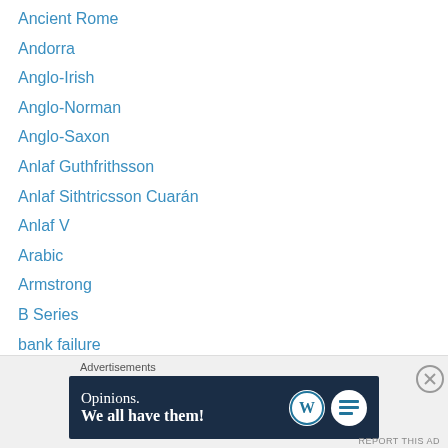Ancient Rome
Andorra
Anglo-Irish
Anglo-Norman
Anglo-Saxon
Anlaf Guthfrithsson
Anlaf Sithtricsson Cuarán
Anlaf V
Arabic
Armstrong
B Series
bank failure
Bank of Ireland (note)
banknote
Banknote Colour Trials
Banknote values
Dillon
[Figure (screenshot): WordPress advertisement banner: 'Opinions. We all have them!' with WordPress and blog logos on dark navy background.]